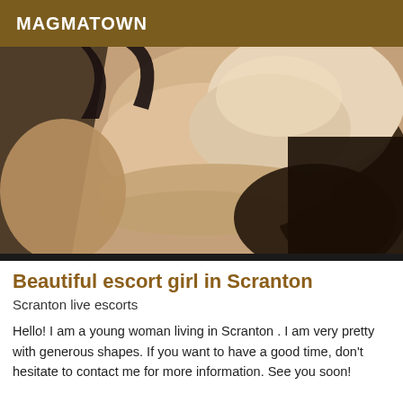MAGMATOWN
[Figure (photo): Close-up photo of a woman in black lingerie, skin tones in warm brown and beige lighting]
Beautiful escort girl in Scranton
Scranton live escorts
Hello! I am a young woman living in Scranton . I am very pretty with generous shapes. If you want to have a good time, don't hesitate to contact me for more information. See you soon!